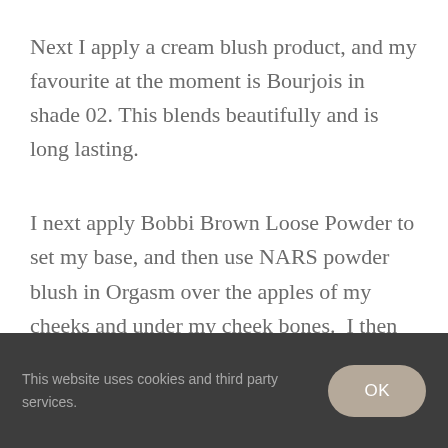Next I apply a cream blush product, and my favourite at the moment is Bourjois in shade 02. This blends beautifully and is long lasting.
I next apply Bobbi Brown Loose Powder to set my base, and then use NARS powder blush in Orgasm over the apples of my cheeks and under my cheek bones. I then apply MAC Pigment in Vanilla to my cheekbones as a highlighter, and anywhere else I
This website uses cookies and third party services.